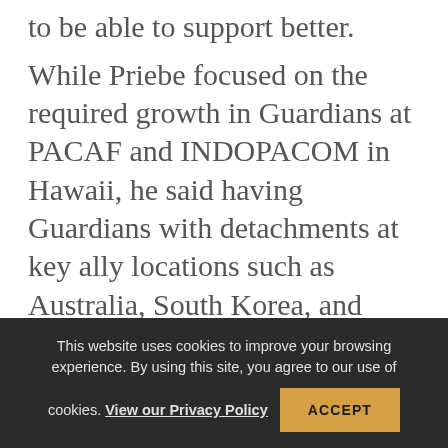to be able to support better.
While Priebe focused on the required growth in Guardians at PACAF and INDOPACOM in Hawaii, he said having Guardians with detachments at key ally locations such as Australia, South Korea, and Japan would demonstrate U.S. commitment to growing and better integrating with those partner forces. Presently, three Guardians are in South Korea and one is in Japan supporting U.S. commanders. Their primary responsibility
This website uses cookies to improve your browsing experience. By using this site, you agree to our use of cookies. View our Privacy Policy ACCEPT